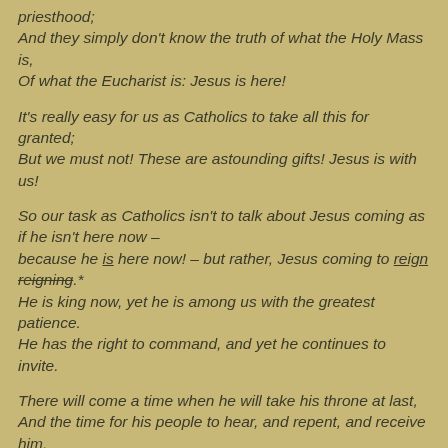priesthood;
And they simply don't know the truth of what the Holy Mass is,
Of what the Eucharist is: Jesus is here!
It's really easy for us as Catholics to take all this for granted; But we must not! These are astounding gifts! Jesus is with us!
So our task as Catholics isn't to talk about Jesus coming as if he isn't here now – because he is here now! – but rather, Jesus coming to reign reigning.* He is king now, yet he is among us with the greatest patience. He has the right to command, and yet he continues to invite.
There will come a time when he will take his throne at last, And the time for his people to hear, and repent, and receive him, Will finally come to an end.